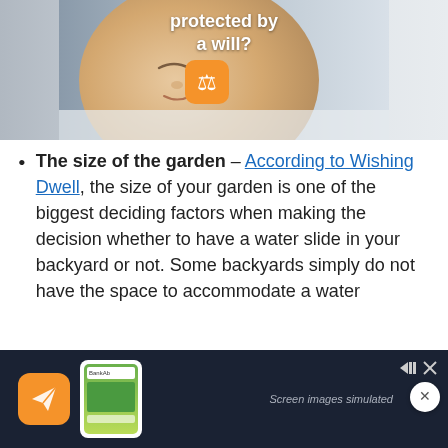[Figure (photo): Sleeping baby with a scales of justice emoji icon overlay and white bold text reading 'protected by a will?' at the top]
The size of the garden – According to Wishing Dwell, the size of your garden is one of the biggest deciding factors when making the decision whether to have a water slide in your backyard or not. Some backyards simply do not have the space to accommodate a water
[Figure (screenshot): Dark advertisement banner at the bottom with a yellow/orange circular icon on the left, a phone screenshot in the center, and 'Screen images simulated' text on the right]